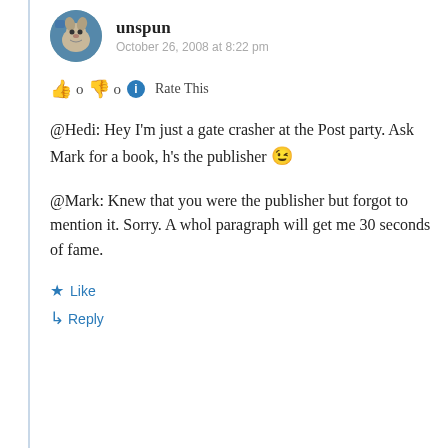unspun — October 26, 2008 at 8:22 pm
👍 0 👎 0 ℹ️ Rate This
@Hedi: Hey I'm just a gate crasher at the Post party. Ask Mark for a book, h's the publisher 😉
@Mark: Knew that you were the publisher but forgot to mention it. Sorry. A whol paragraph will get me 30 seconds of fame.
★ Like
↳ Reply